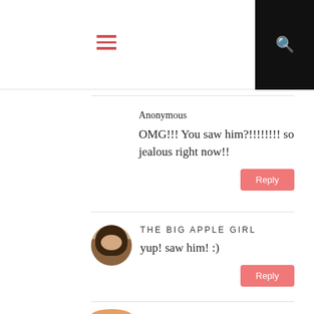Navigation header with hamburger menu and search icon
Anonymous
OMG!!! You saw him?!!!!!!!! so jealous right now!!
Reply
THE BIG APPLE GIRL
yup! saw him! :)
Reply